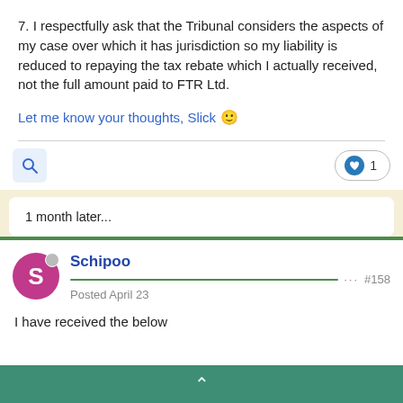7. I respectfully ask that the Tribunal considers the aspects of my case over which it has jurisdiction so my liability is reduced to repaying the tax rebate which I actually received, not the full amount paid to FTR Ltd.
Let me know your thoughts, Slick 🙂
1 month later...
Schipoo
Posted April 23
#158
I have received the below